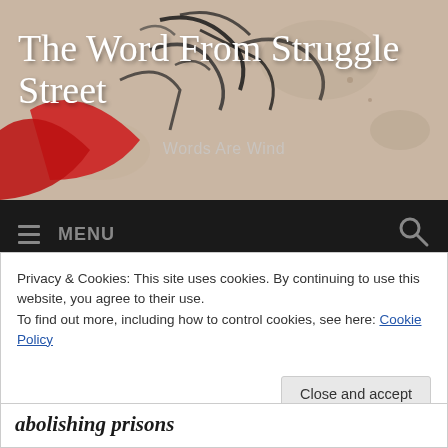[Figure (screenshot): Website header banner showing graffiti art background with red and black figures on a beige/tan wall, with the site title 'The Word From Struggle Street' in white cursive script and tagline 'Words Are Wind' in light grey]
The Word From Struggle Street
Words Are Wind
MENU  [search icon]
CATEGORY: DECOLONISATION
Privacy & Cookies: This site uses cookies. By continuing to use this website, you agree to their use.
To find out more, including how to control cookies, see here: Cookie Policy
Close and accept
abolishing prisons